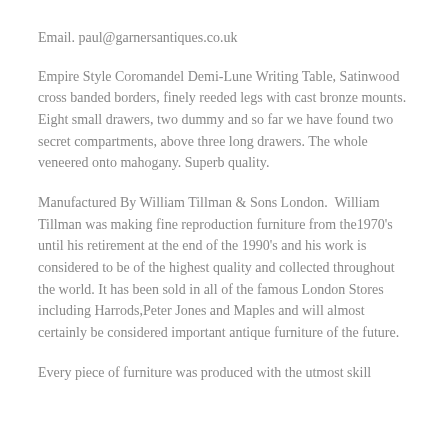Email. paul@garnersantiques.co.uk
Empire Style Coromandel Demi-Lune Writing Table, Satinwood cross banded borders, finely reeded legs with cast bronze mounts. Eight small drawers, two dummy and so far we have found two secret compartments, above three long drawers. The whole veneered onto mahogany. Superb quality.
Manufactured By William Tillman & Sons London.  William Tillman was making fine reproduction furniture from the1970's until his retirement at the end of the 1990's and his work is considered to be of the highest quality and collected throughout the world. It has been sold in all of the famous London Stores including Harrods,Peter Jones and Maples and will almost certainly be considered important antique furniture of the future.
Every piece of furniture was produced with the utmost skill